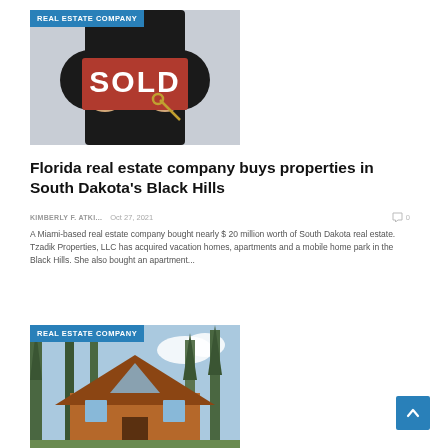[Figure (photo): Person in dark suit holding a red SOLD sign with keys, white background]
Florida real estate company buys properties in South Dakota's Black Hills
KIMBERLY F. ATKI...   Oct 27, 2021   0
A Miami-based real estate company bought nearly $ 20 million worth of South Dakota real estate. Tzadik Properties, LLC has acquired vacation homes, apartments and a mobile home park in the Black Hills. She also bought an apartment...
[Figure (photo): A-frame log cabin home surrounded by tall pine trees with blue sky, labeled REAL ESTATE COMPANY]